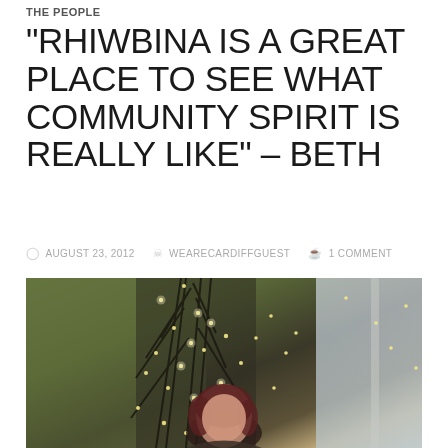THE PEOPLE
“RHIWBINA IS A GREAT PLACE TO SEE WHAT COMMUNITY SPIRIT IS REALLY LIKE” – BETH
AUGUST 23, 2012   WEARECARDIFFGUEST   1 COMMENT
[Figure (photo): A woman with dark reddish-brown hair photographed indoors near a window, with decorative branch lights in the background]